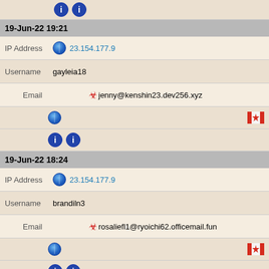[Figure (infographic): Two blue info icons at top]
19-Jun-22 19:21
IP Address  23.154.177.9
Username   gayleia18
Email   jenny@kenshin23.dev256.xyz
[Figure (infographic): Globe icon left, Canada flag right]
[Figure (infographic): Two blue info icons]
19-Jun-22 18:24
IP Address  23.154.177.9
Username   brandiln3
Email   rosaliefl1@ryoichi62.officemail.fun
[Figure (infographic): Globe icon left, Canada flag right]
[Figure (infographic): Two blue info icons]
19-Jun-22 16:32
IP Address  23.154.177.9
Username   kelleywk60
Email   georgetters7@naoki7710.kaede40.gleella.buzz